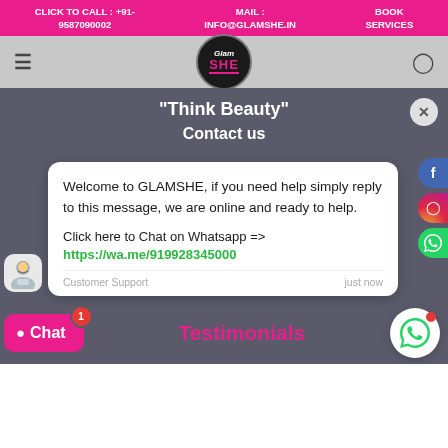CLICK TO CALL : +91-9587090002 | MAIL : INFO@GLAMSHE.IN | BOOK SERVICES
[Figure (logo): GlamSHE logo - circular dark badge with Glam in white italic and SHE in pink bold underlined]
"Think Beauty" Contact us
Welcome to GLAMSHE, if you need help simply reply to this message, we are online and ready to help.

Click here to Chat on Whatsapp =>
https://wa.me/919928345000
Customer Support    just now
Testimonials
[Figure (screenshot): Chat button (pink) with badge showing 1, and WhatsApp floating button with red dot]